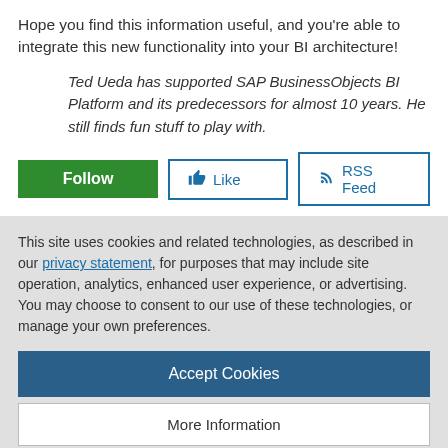Hope you find this information useful, and you're able to integrate this new functionality into your BI architecture!
Ted Ueda has supported SAP BusinessObjects BI Platform and its predecessors for almost 10 years. He still finds fun stuff to play with.
[Figure (other): Three buttons: a green Follow button, a Like button with thumbs-up icon, and an RSS Feed button with RSS icon]
This site uses cookies and related technologies, as described in our privacy statement, for purposes that may include site operation, analytics, enhanced user experience, or advertising. You may choose to consent to our use of these technologies, or manage your own preferences.
Accept Cookies
More Information
Privacy Policy | Powered by: TrustArc
bisupporttool